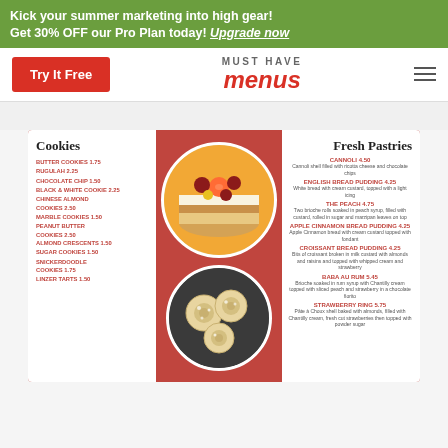Kick your summer marketing into high gear! Get 30% OFF our Pro Plan today! Upgrade now
[Figure (screenshot): Website navigation bar with 'Try It Free' red button, 'Must Have Menus' logo, and hamburger menu icon]
[Figure (other): Restaurant menu design featuring Cookies section on the left with items like Butter Cookies 1.75, Rugulah 2.25, Chocolate Chip 1.50, Black & White Cookie 2.25, Chinese Almond Cookies 2.50, Marble Cookies 1.50, Peanut Butter Cookies 2.50, Almond Crescents 1.50, Sugar Cookies 1.50, Snickerdoodle Cookies 1.75, Linzer Tarts 1.50. Center has circular food photos. Right panel shows Fresh Pastries: Cannoli 4.50, English Bread Pudding 4.25, The Peach 4.75, Apple Cinnamon Bread Pudding 4.25, Croissant Bread Pudding 4.25, Baba Au Rum 5.45, Strawberry Ring 5.75]